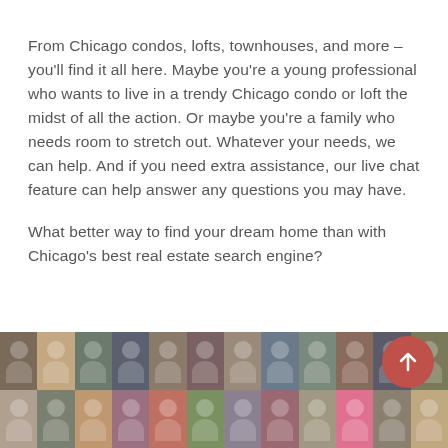From Chicago condos, lofts, townhouses, and more – you'll find it all here. Maybe you're a young professional who wants to live in a trendy Chicago condo or loft the midst of all the action. Or maybe you're a family who needs room to stretch out. Whatever your needs, we can help. And if you need extra assistance, our live chat feature can help answer any questions you may have.
What better way to find your dream home than with Chicago's best real estate search engine?
[Figure (photo): Grid of real estate agent headshot photos arranged in two rows, showing approximately 24 professional portraits of men and women. A red circular scroll-to-top button with an upward arrow is overlaid on the right side of the photo grid.]